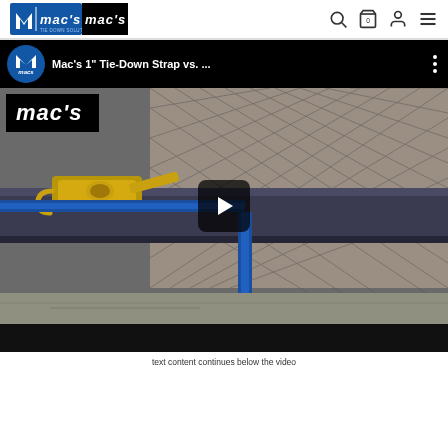Mac's - website header with logo and navigation icons
[Figure (screenshot): Mac's 1" Tie-Down Strap video player screenshot showing a YouTube-style embedded video. The video title bar reads "Mac's 1" Tie-Down Strap vs. ..." with Mac's logo. The video frame shows a blue ratchet tie-down strap on a cargo rail with safety netting in the background. A play button overlay is centered on the video. Below the video is a dark progress/controls bar.]
text content continues below the video